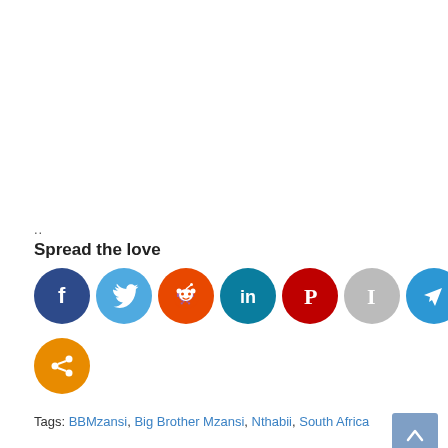..
Spread the love
[Figure (infographic): Row of social media share icon circles: Facebook (dark blue), Twitter (light blue), Reddit (orange), LinkedIn (teal), Pinterest (dark red), Instapaper (grey), Telegram (blue), Instagram (gradient), WhatsApp (green); second row: More/Share (orange)]
Tags: BBMzansi, Big Brother Mzansi, Nthabii, South Africa
Ronnie Hawkins Dies At Age 87, Cause Of Death